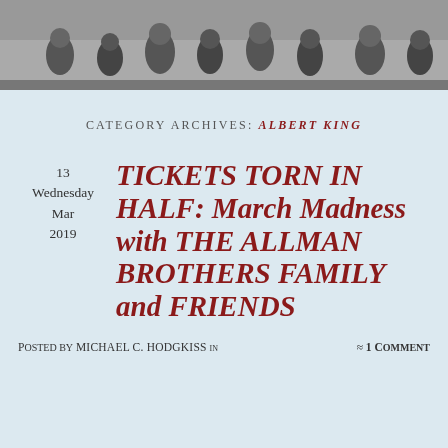[Figure (photo): Black and white photo banner showing a group of people standing outdoors]
CATEGORY ARCHIVES: ALBERT KING
TICKETS TORN IN HALF: March Madness with THE ALLMAN BROTHERS FAMILY and FRIENDS
13 Wednesday Mar 2019
Posted by MICHAEL C. HODGKISS in  ≈ 1 Comment